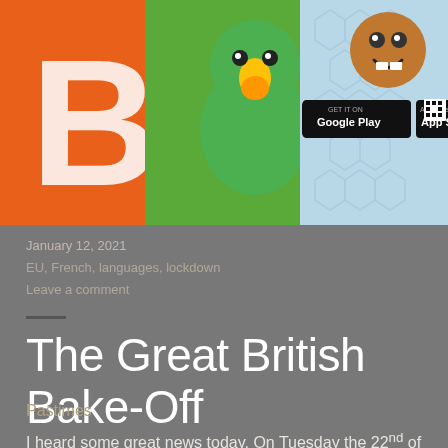[Figure (screenshot): App banner image showing colorful cartoon characters (a green bird/parrot, an orange background with white letters 'B', and a smiling brown character) with Google Play and App Store download badges and a QR code on the right side.]
January 12, 2021
EU, French, languages, lockdown
Leave a comment
The Great British Bake-Off
Pastimes
I heard some great news today. On Tuesday the 22nd of September its the return of the Great British